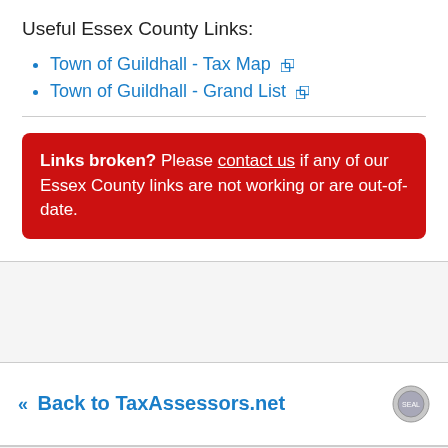Useful Essex County Links:
Town of Guildhall - Tax Map
Town of Guildhall - Grand List
Links broken? Please contact us if any of our Essex County links are not working or are out-of-date.
Back to TaxAssessors.net
© 2023 TaxAssessors.net. All rights reserved. Home...